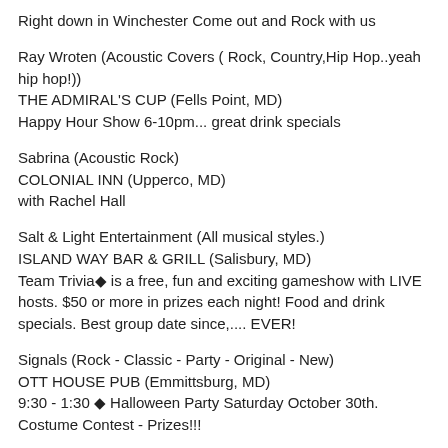Right down in Winchester Come out and Rock with us
Ray Wroten (Acoustic Covers ( Rock, Country,Hip Hop..yeah hip hop!))
THE ADMIRAL'S CUP (Fells Point, MD)
Happy Hour Show 6-10pm... great drink specials
Sabrina (Acoustic Rock)
COLONIAL INN (Upperco, MD)
with Rachel Hall
Salt & Light Entertainment (All musical styles.)
ISLAND WAY BAR & GRILL (Salisbury, MD)
Team Trivia◆ is a free, fun and exciting gameshow with LIVE hosts. $50 or more in prizes each night! Food and drink specials. Best group date since,.... EVER!
Signals (Rock - Classic - Party - Original - New)
OTT HOUSE PUB (Emmittsburg, MD)
9:30 - 1:30 ◆ Halloween Party Saturday October 30th. Costume Contest - Prizes!!!
Slurred Harry (ROCK, DANCE, POP MUSIC FROM THE 60, 70...